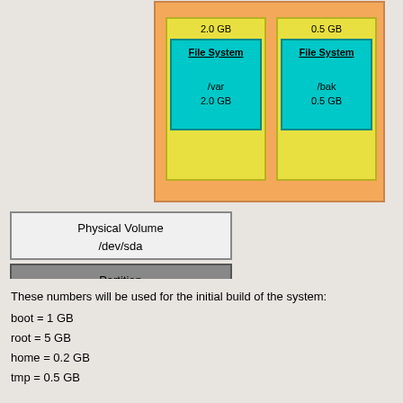[Figure (engineering-diagram): LVM storage diagram showing logical volumes /var (2.0 GB) and /bak (0.5 GB) in yellow boxes with cyan File System boxes inside, contained in an orange LVM group. Below: Physical Volume /dev/sda box, Partition 99% Linux LVM box, Partition <1% /boot box, and a disk cylinder labeled 25 GB srv-ubuntu.vmdk.]
These numbers will be used for the initial build of the system:
boot = 1 GB
root = 5 GB
home = 0.2 GB
tmp = 0.5 GB